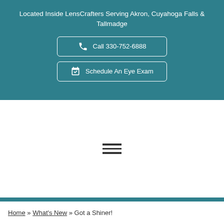Located Inside LensCrafters Serving Akron, Cuyahoga Falls & Tallmadge
Call 330-752-6888
Schedule An Eye Exam
[Figure (other): Hamburger menu icon with three horizontal lines]
Home » What's New » Got a Shiner!